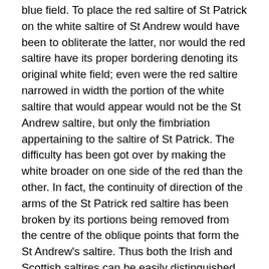blue field. To place the red saltire of St Patrick on the white saltire of St Andrew would have been to obliterate the latter, nor would the red saltire have its proper bordering denoting its original white field; even were the red saltire narrowed in width the portion of the white saltire that would appear would not be the St Andrew saltire, but only the fimbriation appertaining to the saltire of St Patrick. The difficulty has been got over by making the white broader on one side of the red than the other. In fact, the continuity of direction of the arms of the St Patrick red saltire has been broken by its portions being removed from the centre of the oblique points that form the St Andrew's saltire. Thus both the Irish and Scottish saltires can be easily distinguished from one another, whilst the red saltire has its due white fimbriation.
The Union Jack is the most important of all British ensigns, and is flown by representatives of the empire all the world